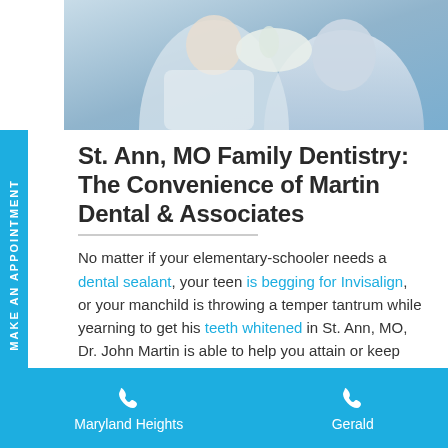[Figure (photo): A dental professional in white coat and gloves examining or treating a patient in a clinical setting]
St. Ann, MO Family Dentistry: The Convenience of Martin Dental & Associates
No matter if your elementary-schooler needs a dental sealant, your teen is begging for Invisalign, or your manchild is throwing a temper tantrum while yearning to get his teeth whitened in St. Ann, MO, Dr. John Martin is able to help you attain or keep the smile of your dreams. During the initial appointment with our family dentistry staff near St.
Maryland Heights   Gerald